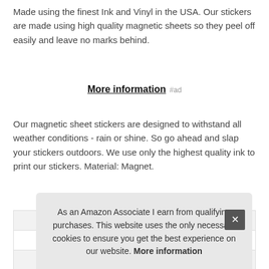Made using the finest Ink and Vinyl in the USA. Our stickers are made using high quality magnetic sheets so they peel off easily and leave no marks behind.
More information #ad
Our magnetic sheet stickers are designed to withstand all weather conditions - rain or shine. So go ahead and slap your stickers outdoors. We use only the highest quality ink to print our stickers. Material: Magnet.
| Brand | MilitaryDecals23 #ad |
| --- | --- |
| Ma |  |
| P |  |
As an Amazon Associate I earn from qualifying purchases. This website uses the only necessary cookies to ensure you get the best experience on our website. More information